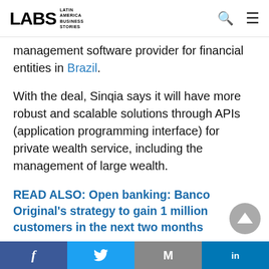LABS Latin America Business Stories
management software provider for financial entities in Brazil.
With the deal, Sinqia says it will have more robust and scalable solutions through APIs (application programming interface) for private wealth service, including the management of large wealth.
READ ALSO: Open banking: Banco Original's strategy to gain 1 million customers in the next two months
Facebook Twitter Gmail LinkedIn social share bar